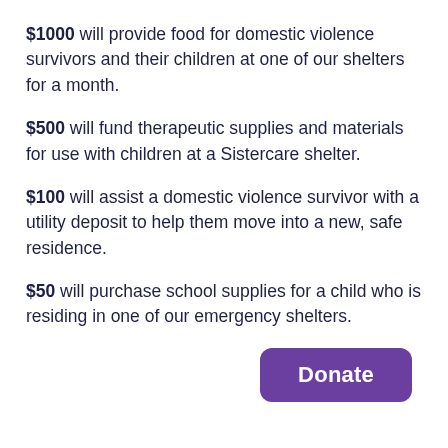$1000 will provide food for domestic violence survivors and their children at one of our shelters for a month.
$500 will fund therapeutic supplies and materials for use with children at a Sistercare shelter.
$100 will assist a domestic violence survivor with a utility deposit to help them move into a new, safe residence.
$50 will purchase school supplies for a child who is residing in one of our emergency shelters.